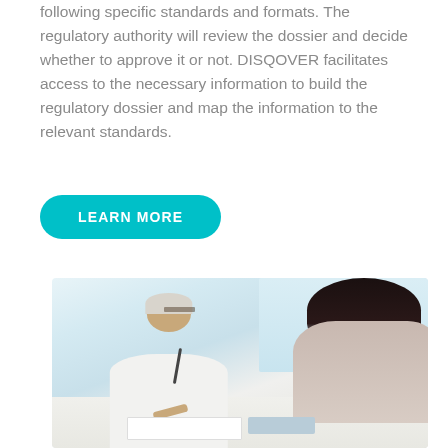following specific standards and formats. The regulatory authority will review the dossier and decide whether to approve it or not. DISQOVER facilitates access to the necessary information to build the regulatory dossier and map the information to the relevant standards.
LEARN MORE
[Figure (photo): A smiling elderly female doctor with white hair and glasses wearing a white coat with a stethoscope, sitting at a desk consulting with a patient (seen from behind with dark hair). Bright clinical office setting with window in background.]